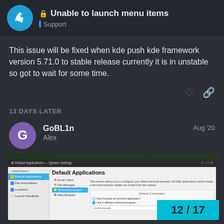🔒 Unable to launch menu items — Support
This issue will be fixed when kde push kde framework version 5.71.0 to stable release currently it is in unstable so got to wait for some time.
13 DAYS LATER
GoBL1n Alex — Aug '20
[Figure (screenshot): Screenshot of KDE System Settings window showing Default Applications panel with Terminal Emulator selected in the left menu. Shows options for Default Component including radio buttons for console application and different terminal program, with a text input field. Page navigation shows 12/17.]